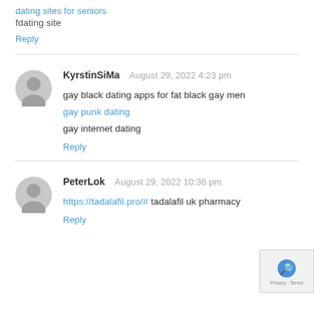dating sites for seniors
fdating site
Reply
KyrstinSiMa   August 29, 2022 4:23 pm
gay black dating apps for fat black gay men
gay punk dating
gay internet dating
Reply
PeterLok   August 29, 2022 10:36 pm
https://tadalafil.pro/# tadalafil uk pharmacy
Reply